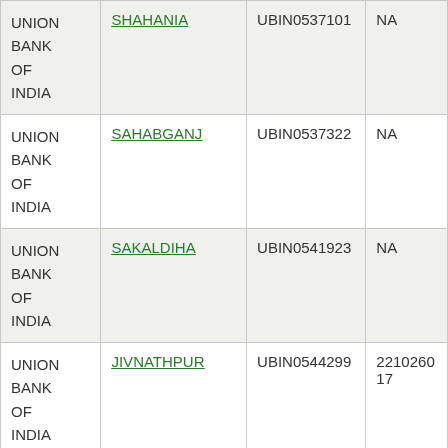| Bank | Branch | IFSC Code | Contact |
| --- | --- | --- | --- |
| UNION BANK OF INDIA | SHAHANIA | UBIN0537101 | NA |
| UNION BANK OF INDIA | SAHABGANJ | UBIN0537322 | NA |
| UNION BANK OF INDIA | SAKALDIHA | UBIN0541923 | NA |
| UNION BANK OF INDIA | JIVNATHPUR | UBIN0544299 | 221026017 |
| UNION BANK OF INDIA | JANSO KI MANDI | UBIN0544931 | NA |